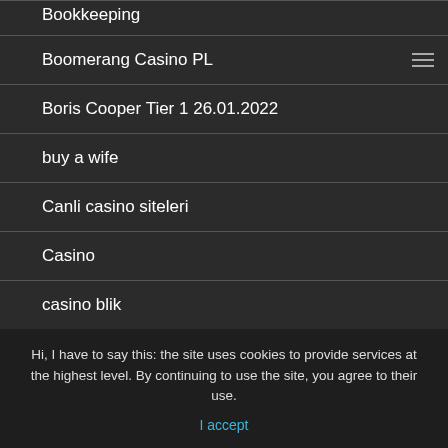Bookkeeping
Boomerang Casino PL
Boris Cooper Tier 1 26.01.2022
buy a wife
Canli casino siteleri
Casino
casino blik
Casino Bonus
Hi, I have to say this: the site uses cookies to provide services at the highest level. By continuing to use the site, you agree to their use.
I accept